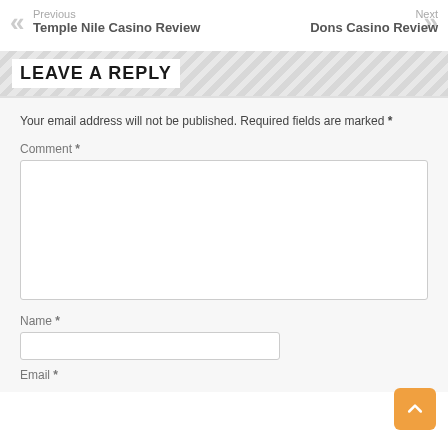Previous Temple Nile Casino Review
Next Dons Casino Review
LEAVE A REPLY
Your email address will not be published. Required fields are marked *
Comment *
Name *
Email *